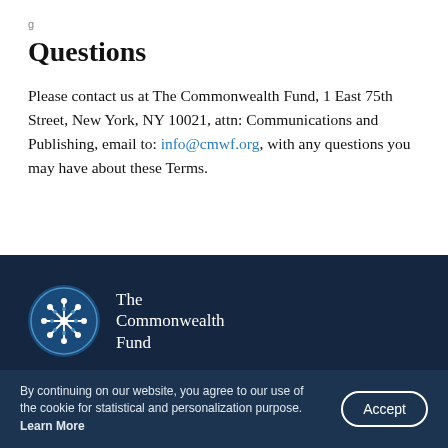g
Questions
Please contact us at The Commonwealth Fund, 1 East 75th Street, New York, NY 10021, attn: Communications and Publishing, email to: info@cmwf.org, with any questions you may have about these Terms.
[Figure (logo): The Commonwealth Fund logo: circular emblem with snowflake/star pattern on dark blue background, next to text 'The Commonwealth Fund']
SECTIONS
By continuing on our website, you agree to our use of the cookie for statistical and personalization purpose. Learn More